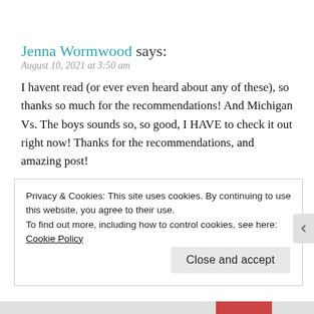Jenna Wormwood says:
August 10, 2021 at 3:50 am
I havent read (or ever even heard about any of these), so thanks so much for the recommendations! And Michigan Vs. The boys sounds so, so good, I HAVE to check it out right now! Thanks for the recommendations, and amazing post!
★ Liked by 1 person
REPLY
Privacy & Cookies: This site uses cookies. By continuing to use this website, you agree to their use.
To find out more, including how to control cookies, see here:
Cookie Policy
Close and accept